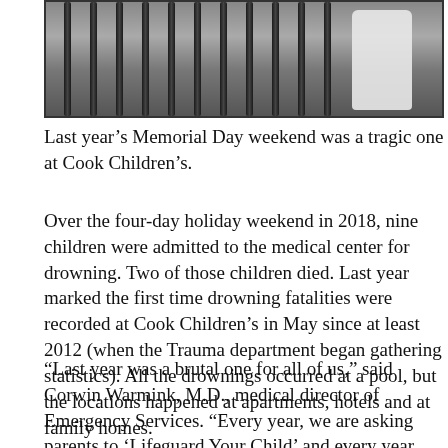[Figure (photo): Photograph showing metal fence bars with a person in a white shirt visible on the right side]
Last year's Memorial Day weekend was a tragic one at Cook Children's.
Over the four-day holiday weekend in 2018, nine children were admitted to the medical center for drowning. Two of those children died. Last year marked the first time drowning fatalities were recorded at Cook Children's in May since at least 2012 (when the Trauma department began gathering statistics). All the drownings occurred at a pool, but the locations happened at apartments, hotels and at family homes.
“Last year was a brutal one for all of us,” said Corwin Warmink, M.D., medical director of Emergency Services. “Every year, we are asking parents to ‘Lifeguard Your Child’ and every year, we see the same drowning tragedies with multiple families torn apart.”